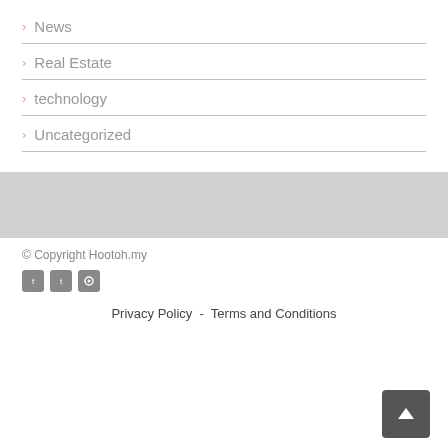> News
> Real Estate
> technology
> Uncategorized
© Copyright Hootoh.my
Privacy Policy - Terms and Conditions